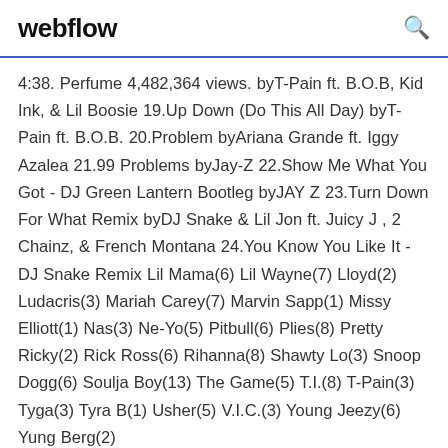webflow
4:38. Perfume 4,482,364 views. byT-Pain ft. B.O.B, Kid Ink, & Lil Boosie 19.Up Down (Do This All Day) byT-Pain ft. B.O.B. 20.Problem byAriana Grande ft. Iggy Azalea 21.99 Problems byJay-Z 22.Show Me What You Got - DJ Green Lantern Bootleg byJAY Z 23.Turn Down For What Remix byDJ Snake & Lil Jon ft. Juicy J , 2 Chainz, & French Montana 24.You Know You Like It - DJ Snake Remix Lil Mama(6) Lil Wayne(7) Lloyd(2) Ludacris(3) Mariah Carey(7) Marvin Sapp(1) Missy Elliott(1) Nas(3) Ne-Yo(5) Pitbull(6) Plies(8) Pretty Ricky(2) Rick Ross(6) Rihanna(8) Shawty Lo(3) Snoop Dogg(6) Soulja Boy(13) The Game(5) T.I.(8) T-Pain(3) Tyga(3) Tyra B(1) Usher(5) V.I.C.(3) Young Jeezy(6) Yung Berg(2)